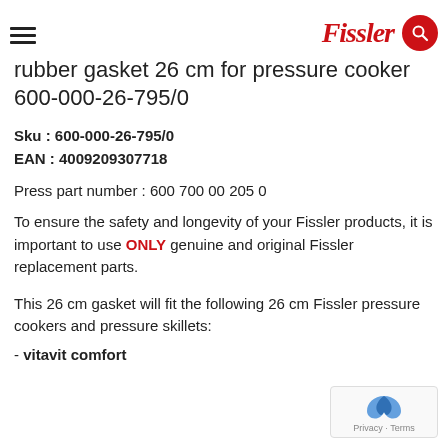Fissler [logo and search icon]
rubber gasket 26 cm for pressure cooker 600-000-26-795/0
Sku : 600-000-26-795/0
EAN : 4009209307718
Press part number : 600 700 00 205 0
To ensure the safety and longevity of your Fissler products, it is important to use ONLY genuine and original Fissler replacement parts.
This 26 cm gasket will fit the following 26 cm Fissler pressure cookers and pressure skillets:
- vitavit comfort